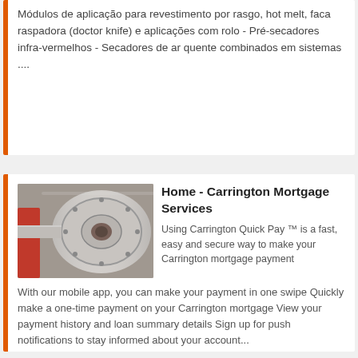Módulos de aplicação para revestimento por rasgo, hot melt, faca raspadora (doctor knife) e aplicações com rolo - Pré-secadores infra-vermelhos - Secadores de ar quente combinados em sistemas ....
[Figure (photo): Industrial roller or drum machinery component, showing a cylindrical metal part with bolted flange and bearing assembly, in a manufacturing setting.]
Home - Carrington Mortgage Services
Using Carrington Quick Pay ™ is a fast, easy and secure way to make your Carrington mortgage payment With our mobile app, you can make your payment in one swipe Quickly make a one-time payment on your Carrington mortgage View your payment history and loan summary details Sign up for push notifications to stay informed about your account...